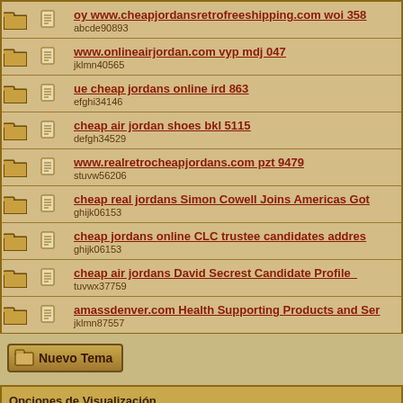|  |  | Topic |
| --- | --- | --- |
| [folder] | [doc] | oy www.cheapjordansretrofreeshipping.com woi 358
abcde90893 |
| [folder] | [doc] | www.onlineairjordan.com vyp mdj 047
jklmn40565 |
| [folder] | [doc] | ue cheap jordans online ird 863
efghi34146 |
| [folder] | [doc] | cheap air jordan shoes bkl 5115
defgh34529 |
| [folder] | [doc] | www.realretrocheapjordans.com pzt 9479
stuvw56206 |
| [folder] | [doc] | cheap real jordans Simon Cowell Joins Americas Got
ghijk06153 |
| [folder] | [doc] | cheap jordans online CLC trustee candidates addres
ghijk06153 |
| [folder] | [doc] | cheap air jordans David Secrest Candidate Profile_
tuvwx37759 |
| [folder] | [doc] | amassdenver.com Health Supporting Products and Ser
jklmn87557 |
Nuevo Tema
Opciones de Visualización
Mostrar temas desde los 80 de 80